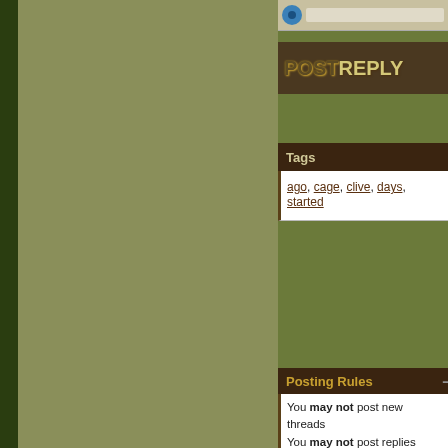[Figure (screenshot): Top bar with circular blue icon on a tan/cream background]
POSTREPLY
Tags
ago, cage, clive, days, started
Posting Rules
You may not post new threads
You may not post replies
You may not post attachments
You may not edit your posts
BB code is On
Smilies are On
[IMG] code is On
HTML code is Off
Forum Rules
Powered by vBulletin®
Copyright ©2000 - 2022, Jelsoft Enterprises
Search Engine Optimisation provided by
Copyright © 2003-2020, Hobby Solutions
-- Hamster Central Fluid